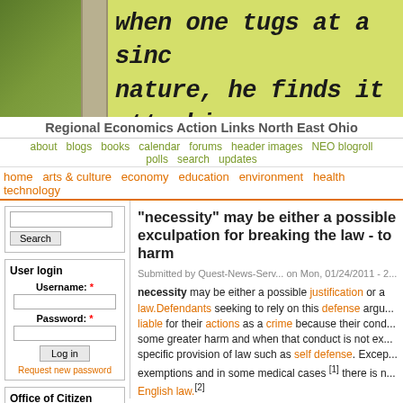[Figure (photo): Website header image with green/yellow background, trees and pillar on left, handwritten text reading 'when one tugs at a sinc nature, he finds it attachi of the worl']
Regional Economics Action Links North East Ohio
about  blogs  books  calendar  forums  header images  NEO blogroll  polls  search  updates
home  arts & culture  economy  education  environment  health  technology
"necessity" may be either a possible exculpation for breaking the law - to harm
Submitted by Quest-News-Serv... on Mon, 01/24/2011 - 2...
necessity may be either a possible justification or a law.Defendants seeking to rely on this defense argue that they should not be liable for their actions as a crime because their conduct some greater harm and when that conduct is not ex specific provision of law such as self defense. Except exemptions and in some medical cases [1] there is n English law.[2]
User login
Username: *
Password: *
Request new password
Office of Citizen
Rest in Peace,